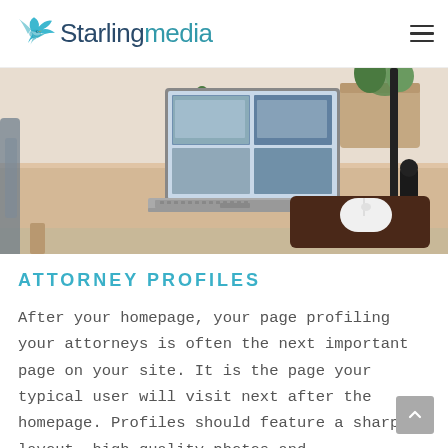Starling media
[Figure (photo): A wooden desk with a laptop displaying images, a wireless mouse on a dark mouse pad, a small potted plant, a white cylindrical speaker, and plants in the background]
ATTORNEY PROFILES
After your homepage, your page profiling your attorneys is often the next important page on your site. It is the page your typical user will visit next after the homepage. Profiles should feature a sharp layout, high-quality photos and